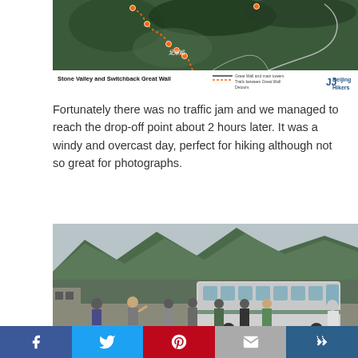[Figure (map): Trail map showing Stone Valley and Switchback Great Wall hiking route with orange dotted path markers on satellite/topographic background. Beijing Hikers logo in bottom right.]
Fortunately there was no traffic jam and we managed to reach the drop-off point about 2 hours later. It was a windy and overcast day, perfect for hiking although not so great for photographs.
[Figure (photo): Group of hikers and tourists standing outside a large silver tour bus at the drop-off point, with green forested mountain hills in the background under an overcast sky.]
f | Twitter bird icon | Pinterest P icon | Email envelope icon | Feedly crown icon